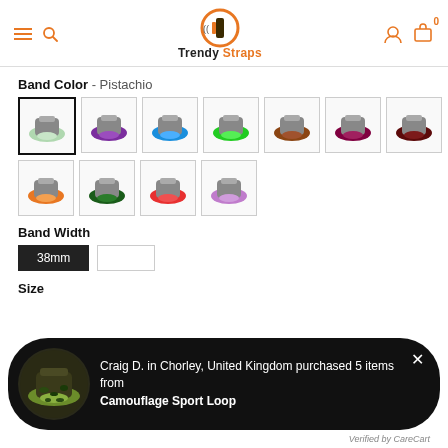Trendy Straps
Band Color - Pistachio
[Figure (screenshot): Grid of Apple Watch band color swatches: Pistachio (selected), Purple, Blue, Green, Brown, Maroon, Dark Red in row 1; Orange, Dark Green, Red/Coral, Lavender in row 2]
Band Width
38mm (selected button), second button
Size
[Figure (screenshot): Popup notification showing a camouflage sport loop Apple Watch band. Text: Craig D. in Chorley, United Kingdom purchased 5 items from Camouflage Sport Loop. Verified by CareCart. US flag icon shown.]